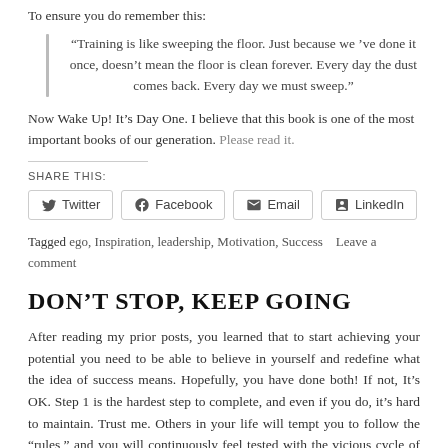To ensure you do remember this:
“Training is like sweeping the floor. Just because we ’ve done it once, doesn’t mean the floor is clean forever. Every day the dust comes back. Every day we must sweep.”
Now Wake Up! It’s Day One. I believe that this book is one of the most important books of our generation. Please read it.
SHARE THIS:
Twitter | Facebook | Email | LinkedIn
Tagged ego, Inspiration, leadership, Motivation, Success   Leave a comment
DON’T STOP, KEEP GOING
After reading my prior posts, you learned that to start achieving your potential you need to be able to believe in yourself and redefine what the idea of success means. Hopefully, you have done both! If not, It’s OK. Step 1 is the hardest step to complete, and even if you do, it’s hard to maintain. Trust me. Others in your life will tempt you to follow the “rules,” and you will continuously feel tested with the vicious cycle of worrying about the past (failure) and future (success), which will try to